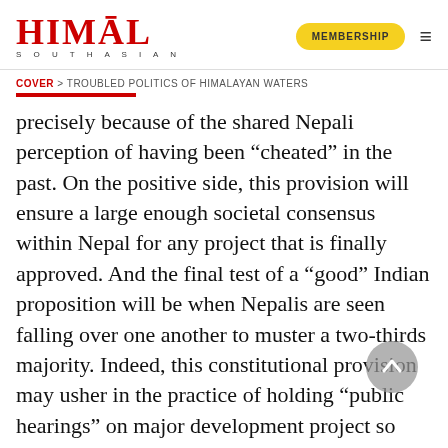HIMAL SOUTHASIAN
COVER > TROUBLED POLITICS OF HIMALAYAN WATERS
precisely because of the shared Nepali perception of having been “cheated” in the past. On the positive side, this provision will ensure a large enough societal consensus within Nepal for any project that is finally approved. And the final test of a “good” Indian proposition will be when Nepalis are seen falling over one another to muster a two-thirds majority. Indeed, this constitutional provision may usher in the practice of holding “public hearings” on major development project so that social, economic and environmental issues are brought out in the